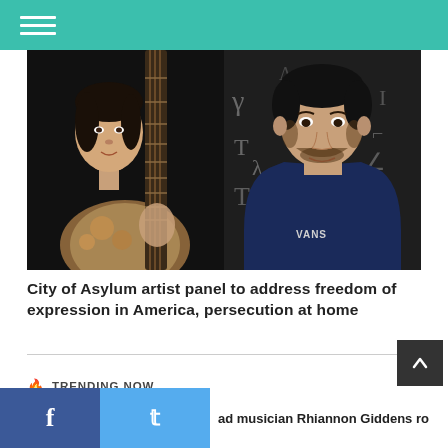[Figure (photo): Two-panel hero image: left panel shows a woman of Asian appearance holding a guitar neck against a dark background; right panel shows a young man of Middle Eastern appearance wearing a navy blue Vans hoodie against a background with handwritten characters.]
City of Asylum artist panel to address freedom of expression in America, persecution at home
TRENDING NOW
[Figure (photo): Partial text teaser reading: 'ad musician Rhiannon Giddens ro']
f  t